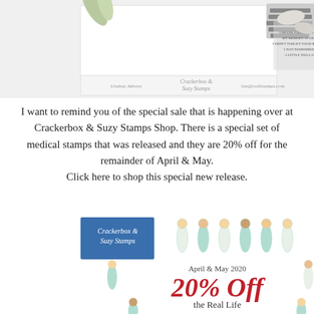[Figure (photo): Photo of a stamped card with text 'I never forget a thing. My memory is great. I didn't forget your birthday, I just remembered a little too late.' with Crackerbox & Suzy Stamps branding and Lindsay Adreon name.]
I want to remind you of the special sale that is happening over at Crackerbox & Suzy Stamps Shop. There is a special set of medical stamps that was released and they are 20% off for the remainder of April & May.
Click here to shop this special new release.
[Figure (illustration): Promotional image for Crackerbox & Suzy Stamps showing illustrated medical staff/doctors and nurses in a circle arrangement. Text reads 'April & May 2020', '20% Off', 'the Real Life Superhero'. Blue logo in top-left corner.]